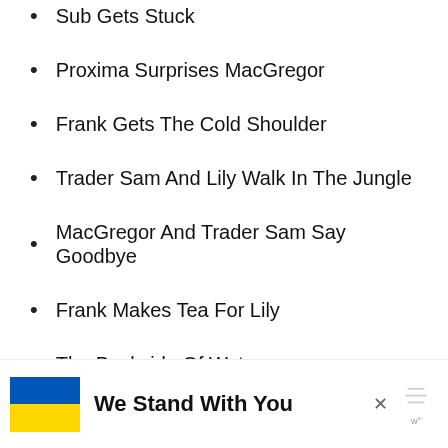Sub Gets Stuck
Proxima Surprises MacGregor
Frank Gets The Cold Shoulder
Trader Sam And Lily Walk In The Jungle
MacGregor And Trader Sam Say Goodbye
Frank Makes Tea For Lily
The Backside Of Water
We Stand With You